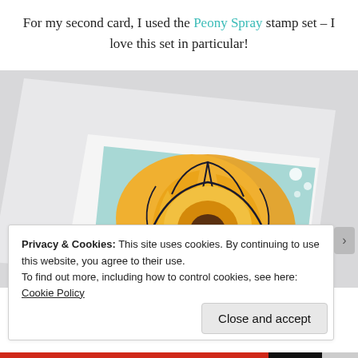For my second card, I used the Peony Spray stamp set – I love this set in particular!
[Figure (photo): A handmade greeting card featuring a large yellow-orange peony flower stamped and colored with ink on a light teal background. The card is mounted on a white card base, photographed at an angle on a light gray surface.]
Privacy & Cookies: This site uses cookies. By continuing to use this website, you agree to their use.
To find out more, including how to control cookies, see here: Cookie Policy
Close and accept